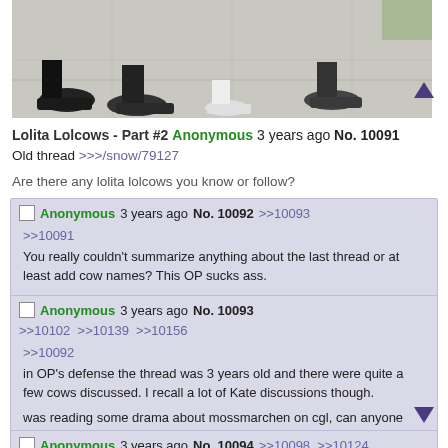[Figure (photo): Cropped photo showing feet and shoes of several people standing on a sidewalk/pavement. Visible are dark platform boots and white sneakers.]
[Figure (illustration): Dark purple upward-pointing triangle arrow button]
Lolita Lolcows - Part #2 Anonymous 3 years ago No. 10091
Old thread >>>/snow/79127
Are there any lolita lolcows you know or follow?
Anonymous 3 years ago No. 10092 >>10093
>>10091
You really couldn't summarize anything about the last thread or at least add cow names? This OP sucks ass.
Anonymous 3 years ago No. 10093 >>10102 >>10139 >>10156
>>10092
in OP's defense the thread was 3 years old and there were quite a few cows discussed. I recall a lot of Kate discussions though.

was reading some drama about mossmarchen on cgl, can anyone from NY or LA fill me in on the drama surrounding stephanie m?
Anonymous 3 years ago No. 10094 >>10098 >>10124
>>10091
Hi another RISD anon. Heard that Tristan, that rottingdoll
[Figure (illustration): Dark purple downward-pointing triangle arrow button]